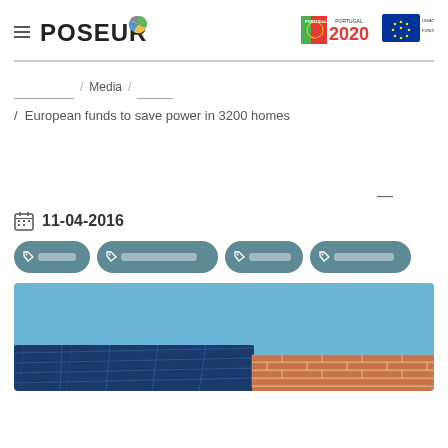POSEUR
[Figure (logo): Portugal 2020 logo badge]
[Figure (logo): União Europeia - Fundo de Coesão badge]
________  /  Media  /  ______
/ European funds to save power in 3200 homes
—
11-04-2016
[Figure (photo): Photo of solar panels on a rooftop against a blue sky, with terracotta brick facade visible]